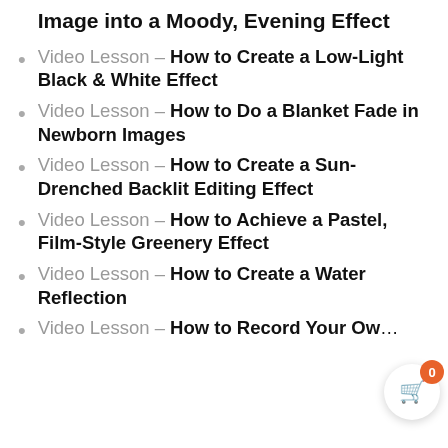Image into a Moody, Evening Effect
Video Lesson – How to Create a Low-Light Black & White Effect
Video Lesson – How to Do a Blanket Fade in Newborn Images
Video Lesson – How to Create a Sun-Drenched Backlit Editing Effect
Video Lesson – How to Achieve a Pastel, Film-Style Greenery Effect
Video Lesson – How to Create a Water Reflection
Video Lesson – How to Record Your Ow...